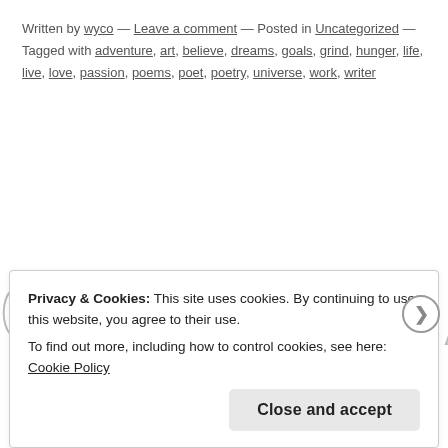Written by wyco — Leave a comment — Posted in Uncategorized — Tagged with adventure, art, believe, dreams, goals, grind, hunger, life, live, love, passion, poems, poet, poetry, universe, work, writer
QUOTES AND
Privacy & Cookies: This site uses cookies. By continuing to use this website, you agree to their use. To find out more, including how to control cookies, see here: Cookie Policy
Close and accept